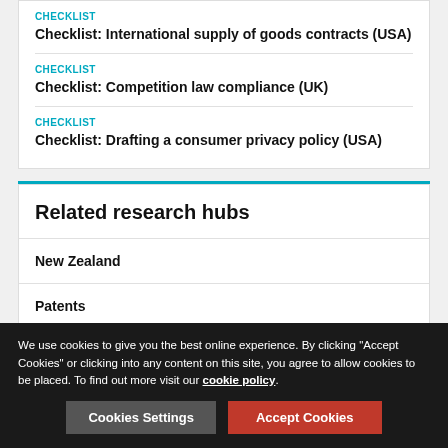CHECKLIST
Checklist: International supply of goods contracts (USA)
CHECKLIST
Checklist: Competition law compliance (UK)
CHECKLIST
Checklist: Drafting a consumer privacy policy (USA)
Related research hubs
New Zealand
Patents
We use cookies to give you the best online experience. By clicking "Accept Cookies" or clicking into any content on this site, you agree to allow cookies to be placed. To find out more visit our cookie policy.